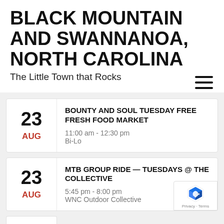BLACK MOUNTAIN AND SWANNANOA, NORTH CAROLINA
The Little Town that Rocks
BOUNTY AND SOUL TUESDAY FREE FRESH FOOD MARKET
11:00 am - 12:30 pm
Bi-Lo
23 AUG
MTB GROUP RIDE — TUESDAYS @ THE COLLECTIVE
5:45 pm - 8:00 pm
WNC Outdoor Collective
23 AUG